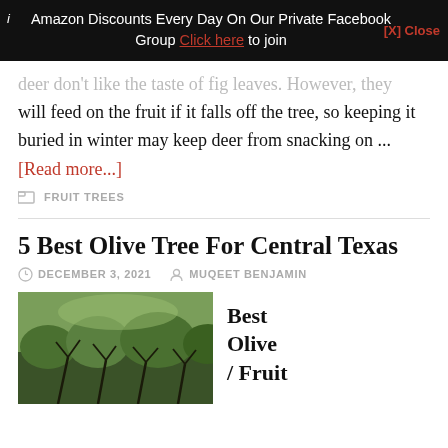Amazon Discounts Every Day On Our Private Facebook Group Click here to join [X] Close
deer don't like the taste of fig leaves. However, they will feed on the fruit if it falls off the tree, so keeping it buried in winter may keep deer from snacking on ...
[Read more...]
FRUIT TREES
5 Best Olive Tree For Central Texas
DECEMBER 3, 2021   MUQEET BENJAMIN
[Figure (photo): Outdoor photo showing olive trees or similar vegetation in a landscape]
Best Olive /Fruit